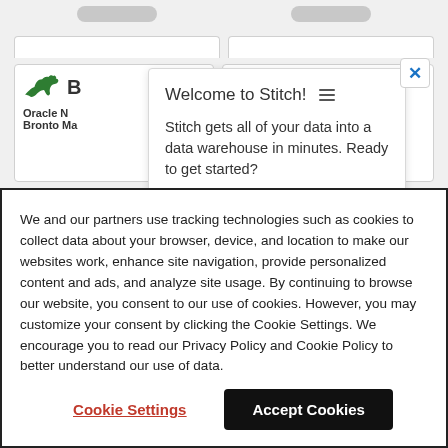[Figure (screenshot): Background UI showing cards with buttons, partially visible Bronto (Oracle) marketing card with dinosaur logo, and a 'Welcome to Stitch!' tooltip popup with close button]
Welcome to Stitch! ☰

Stitch gets all of your data into a data warehouse in minutes. Ready to get started?
We and our partners use tracking technologies such as cookies to collect data about your browser, device, and location to make our websites work, enhance site navigation, provide personalized content and ads, and analyze site usage. By continuing to browse our website, you consent to our use of cookies. However, you may customize your consent by clicking the Cookie Settings. We encourage you to read our Privacy Policy and Cookie Policy to better understand our use of data.
Cookie Settings
Accept Cookies